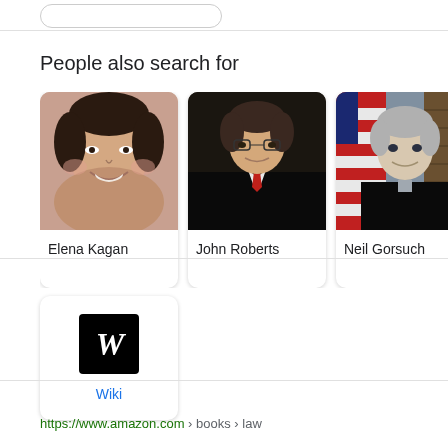People also search for
[Figure (photo): Photo of Elena Kagan smiling, close-up face shot]
Elena Kagan
[Figure (photo): Photo of John Roberts in judicial robes with red tie]
John Roberts
[Figure (photo): Photo of Neil Gorsuch in judicial robes with American flag behind]
Neil Gorsuch
[Figure (photo): Partial photo of Sonia Sotomayor]
Sonia Sotomay...
[Figure (logo): Wikipedia W logo in black square]
Wiki
https://www.amazon.com › books › law